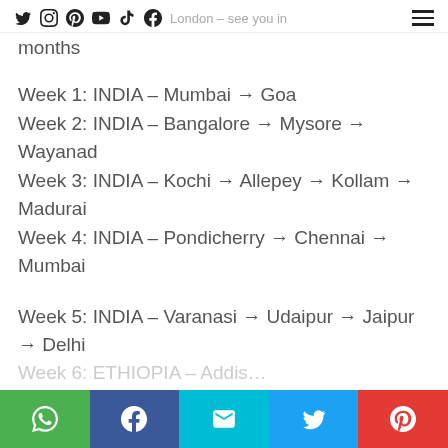Social media icons and navigation. London – see you in months
Week 1: INDIA – Mumbai → Goa
Week 2: INDIA – Bangalore → Mysore → Wayanad
Week 3: INDIA – Kochi → Allepey → Kollam → Madurai
Week 4: INDIA – Pondicherry → Chennai → Mumbai
Week 5: INDIA – Varanasi → Udaipur → Jaipur → Delhi
Share buttons: WhatsApp, Facebook, Email, Twitter, Pinterest